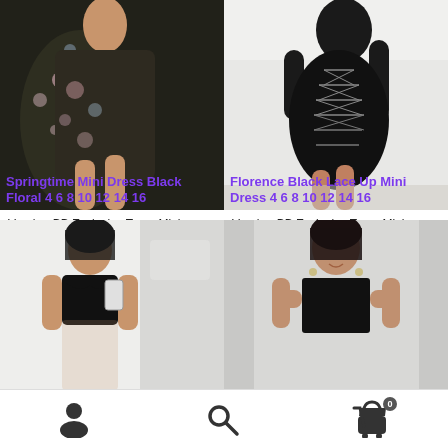[Figure (photo): Woman wearing a black floral mini dress (Springtime Mini Dress Black Floral)]
Springtime Mini Dress Black Floral 4 6 8 10 12 14 16
Vendor: BB Exclusive Type: Mini Dresses Price: AU$39.99 Black floral…
[Figure (photo): Woman wearing Florence Black Lace Up Mini Dress shown from back]
Florence Black Lace Up Mini Dress 4 6 8 10 12 14 16
Vendor: BB Exclusive Type: Mini Dresses Price: AU$79.99 Black Lace…
[Figure (photo): Woman wearing a black strapless mini dress taking a mirror selfie]
[Figure (photo): Woman wearing a black bandeau/tube top style dress posing in mirror]